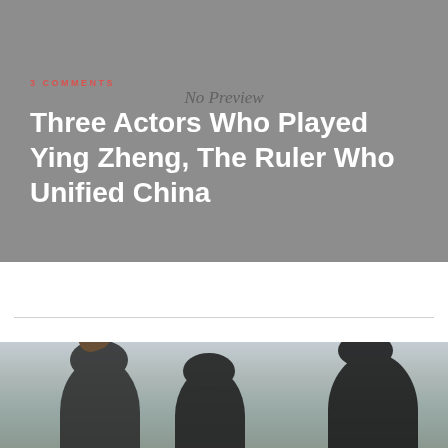[Figure (photo): Gray hero banner background with 'No Preview' watermark text overlaid]
3 COMMENTS
Three Actors Who Played Ying Zheng, The Ruler Who Unified China
[Figure (photo): Photo of three actors in historical Chinese costume with traditional hair ornaments and headbands, photographed from behind/side against a light sky background]